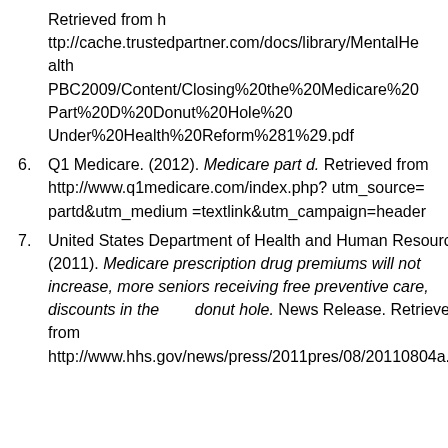Retrieved from http://cache.trustedpartner.com/docs/library/MentalHealth PBC2009/Content/Closing%20the%20Medicare%20Part%20D%20Donut%20Hole%20Under%20Health%20Reform%281%29.pdf
6. Q1 Medicare. (2012). Medicare part d. Retrieved from http://www.q1medicare.com/index.php?utm_source= partd&utm_medium =textlink&utm_campaign=header
7. United States Department of Health and Human Resources. (2011). Medicare prescription drug premiums will not increase, more seniors receiving free preventive care, discounts in the donut hole. News Release. Retrieved from http://www.hhs.gov/news/press/2011pres/08/20110804a.html